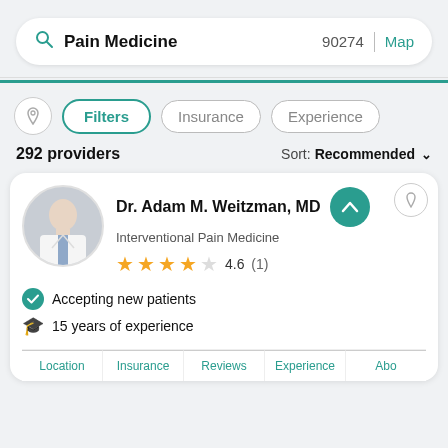[Figure (screenshot): Search bar with search icon, 'Pain Medicine' text, zip code '90274', and 'Map' link in teal]
Filters   Insurance   Experience
292 providers
Sort: Recommended
[Figure (photo): Circular photo of Dr. Adam M. Weitzman, MD in a white coat]
Dr. Adam M. Weitzman, MD
Interventional Pain Medicine
4.6  (1)
Accepting new patients
15 years of experience
Location   Insurance   Reviews   Experience   Abo